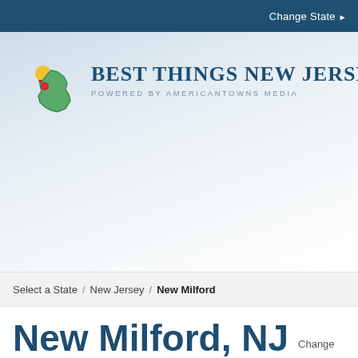Change State ▶
[Figure (logo): Best Things New Jersey logo — NJ state shape icon in green with a yellow ribbon and red award medal, next to bold uppercase text 'BEST THINGS NEW JERSEY' and subtitle 'POWERED BY AMERICANTOWNS MEDIA']
Select a State  /  New Jersey  /  New Milford
New Milford, NJ